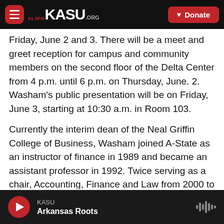KASU 91.9FM .ORG | Donate
Friday, June 2 and 3. There will be a meet and greet reception for campus and community members on the second floor of the Delta Center from 4 p.m. until 6 p.m. on Thursday, June. 2. Washam's public presentation will be on Friday, June 3, starting at 10:30 a.m. in Room 103.
Currently the interim dean of the Neal Griffin College of Business, Washam joined A-State as an instructor of finance in 1989 and became an assistant professor in 1992. Twice serving as a chair, Accounting, Finance and Law from 2000 to 2004, then Economics and Finance from 2004 to 2008. Washam also became associate dean, the...
KASU | Arkansas Roots